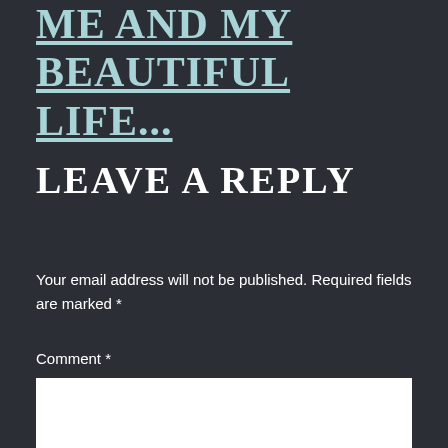ME AND MY BEAUTIFUL LIFE...
LEAVE A REPLY
Your email address will not be published. Required fields are marked *
Comment *
[Figure (other): Comment text input box (white rectangle)]